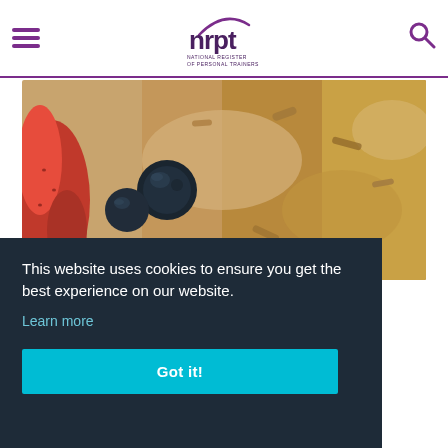NRPT – National Register of Personal Trainers
[Figure (photo): Close-up photo of a berry and granola bowl with strawberries, blueberries, and oats]
This website uses cookies to ensure you get the best experience on our website.
Learn more
Got it!